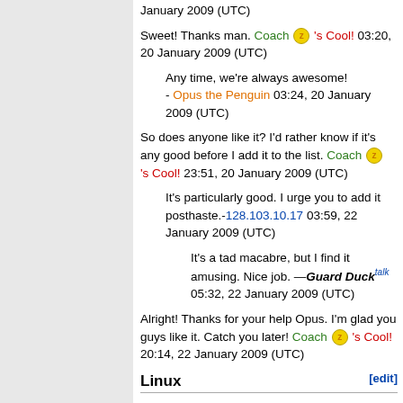January 2009 (UTC)
Sweet! Thanks man. Coach [zz] 's Cool! 03:20, 20 January 2009 (UTC)
Any time, we're always awesome! - Opus the Penguin 03:24, 20 January 2009 (UTC)
So does anyone like it? I'd rather know if it's any good before I add it to the list. Coach [zz] 's Cool! 23:51, 20 January 2009 (UTC)
It's particularly good. I urge you to add it posthaste.-128.103.10.17 03:59, 22 January 2009 (UTC)
It's a tad macabre, but I find it amusing. Nice job. —Guard Duck talk 05:32, 22 January 2009 (UTC)
Alright! Thanks for your help Opus. I'm glad you guys like it. Catch you later! Coach [zz] 's Cool! 20:14, 22 January 2009 (UTC)
Linux